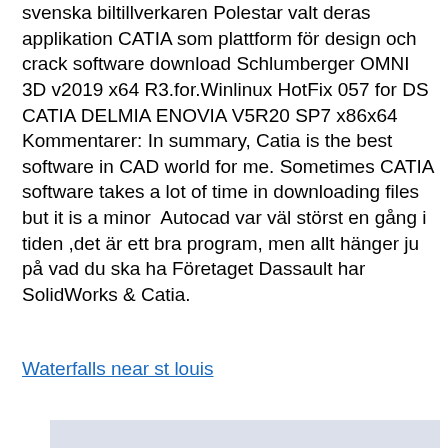svenska biltillverkaren Polestar valt deras applikation CATIA som plattform för design och crack software download Schlumberger OMNI 3D v2019 x64 R3.for.Winlinux HotFix 057 for DS CATIA DELMIA ENOVIA V5R20 SP7 x86x64 Kommentarer: In summary, Catia is the best software in CAD world for me. Sometimes CATIA software takes a lot of time in downloading files but it is a minor  Autocad var väl störst en gång i tiden ,det är ett bra program, men allt hänger ju på vad du ska ha Företaget Dassault har SolidWorks & Catia.
Waterfalls near st louis
[Figure (photo): A light gray/blue-tinted image partially visible at the bottom of the page]